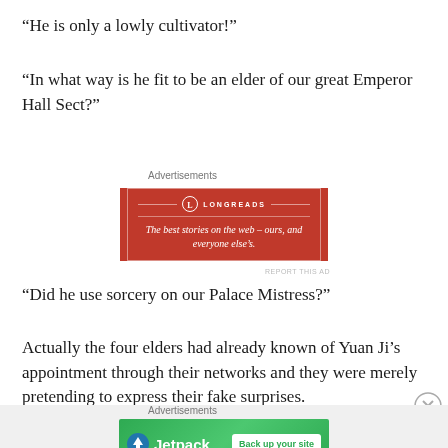“He is only a lowly cultivator!”
“In what way is he fit to be an elder of our great Emperor Hall Sect?”
[Figure (other): Longreads advertisement banner with red background and white text: 'The best stories on the web – ours, and everyone else’s.']
“Did he use sorcery on our Palace Mistress?”
Actually the four elders had already known of Yuan Ji’s appointment through their networks and they were merely pretending to express their fake surprises.
[Figure (other): Jetpack advertisement banner with green background showing Jetpack logo and 'Back up your site' button.]